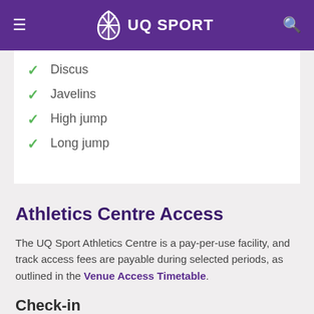UQ SPORT
Discus
Javelins
High jump
Long jump
Athletics Centre Access
The UQ Sport Athletics Centre is a pay-per-use facility, and track access fees are payable during selected periods, as outlined in the Venue Access Timetable.
Check-in